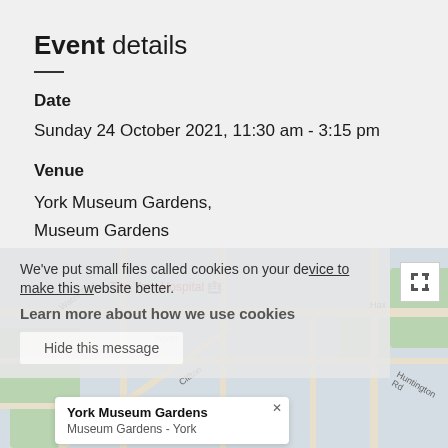Event details
Date
Sunday 24 October 2021, 11:30 am - 3:15 pm
Venue
York Museum Gardens,
Museum Gardens
York
North Yorkshire
View location details
We've put small files called cookies on your device to make this website better.
Learn more about how we use cookies
[Figure (map): Google Maps screenshot showing York city area with The York Hospital marker and York Museum Gardens popup]
Hide this message
York Museum Gardens
Museum Gardens - York